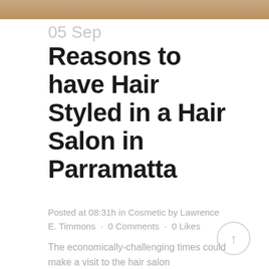[Figure (photo): Partial photo visible at top of page, appears to show a hair salon interior with warm brown tones]
05 Sep
Reasons to have Hair Styled in a Hair Salon in Parramatta
Posted at 08:31h in Cosmetic by Lawrence E. Timmons · 0 Comments · 0 Likes
The economically-challenging times could make a visit to the hair salon